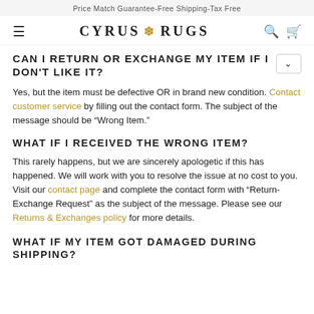Price Match Guarantee-Free Shipping-Tax Free
CYRUS RUGS
CAN I RETURN OR EXCHANGE MY ITEM IF I DON'T LIKE IT?
Yes, but the item must be defective OR in brand new condition. Contact customer service by filling out the contact form. The subject of the message should be “Wrong Item.”
WHAT IF I RECEIVED THE WRONG ITEM?
This rarely happens, but we are sincerely apologetic if this has happened. We will work with you to resolve the issue at no cost to you. Visit our contact page and complete the contact form with “Return-Exchange Request” as the subject of the message. Please see our Returns & Exchanges policy for more details.
WHAT IF MY ITEM GOT DAMAGED DURING SHIPPING?